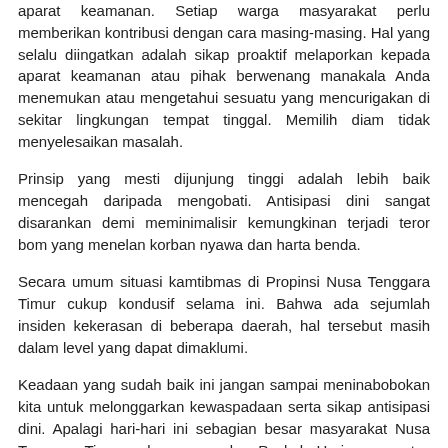aparat keamanan. Setiap warga masyarakat perlu memberikan kontribusi dengan cara masing-masing. Hal yang selalu diingatkan adalah sikap proaktif melaporkan kepada aparat keamanan atau pihak berwenang manakala Anda menemukan atau mengetahui sesuatu yang mencurigakan di sekitar lingkungan tempat tinggal. Memilih diam tidak menyelesaikan masalah.
Prinsip yang mesti dijunjung tinggi adalah lebih baik mencegah daripada mengobati. Antisipasi dini sangat disarankan demi meminimalisir kemungkinan terjadi teror bom yang menelan korban nyawa dan harta benda.
Secara umum situasi kamtibmas di Propinsi Nusa Tenggara Timur cukup kondusif selama ini. Bahwa ada sejumlah insiden kekerasan di beberapa daerah, hal tersebut masih dalam level yang dapat dimaklumi.
Keadaan yang sudah baik ini jangan sampai meninabobokan kita untuk melonggarkan kewaspadaan serta sikap antisipasi dini. Apalagi hari-hari ini sebagian besar masyarakat Nusa Tenggara Timur sedang merayakan Paskah. Hari raya umat